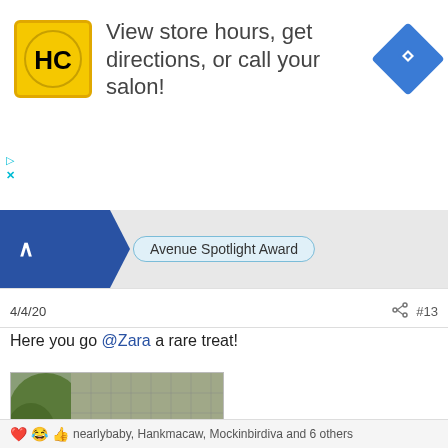[Figure (screenshot): Advertisement banner with HC (Hair Club) yellow logo on left, text 'View store hours, get directions, or call your salon!' in center, blue navigation arrow icon on right. Small cyan play and X controls at lower left.]
[Figure (screenshot): Award bar with dark blue chevron shape on left containing a caret-up symbol, and 'Avenue Spotlight Award' badge in the center on a light gray background.]
4/4/20
#13
Here you go @Zara a rare treat!
[Figure (photo): Photograph of a large wild cat (bobcat or lynx) standing in a fenced enclosure with trees and green foliage in the background. The cat is tawny/orange-brown with characteristic tufted ears.]
nearlybaby, Hankmacaw, Mockinbirdiva and 6 others